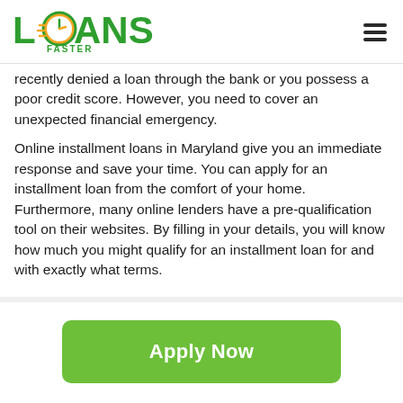LOANS FASTER
recently denied a loan through the bank or you possess a poor credit score. However, you need to cover an unexpected financial emergency.
Online installment loans in Maryland give you an immediate response and save your time. You can apply for an installment loan from the comfort of your home. Furthermore, many online lenders have a pre-qualification tool on their websites. By filling in your details, you will know how much you might qualify for an installment loan for and with exactly what terms.
[Figure (other): Apply Now button - green rounded rectangle with white bold text]
Applying does NOT affect your credit score!
No credit check to apply.